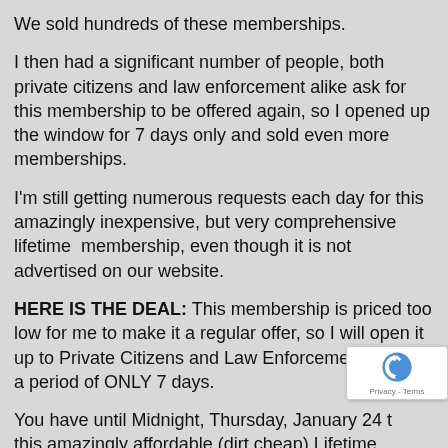We sold hundreds of these memberships.
I then had a significant number of people, both private citizens and law enforcement alike ask for this membership to be offered again, so I opened up the window for 7 days only and sold even more memberships.
I'm still getting numerous requests each day for this amazingly inexpensive, but very comprehensive lifetime  membership, even though it is not advertised on our website.
HERE IS THE DEAL: This membership is priced too low for me to make it a regular offer, so I will open it up to Private Citizens and Law Enforcement Alike for a period of ONLY 7 days.
You have until Midnight, Thursday, January 24 to get this amazingly affordable (dirt cheap) Lifetime Membership that we will not offer again at this p... because we can't offer a lifetime of training so darn...